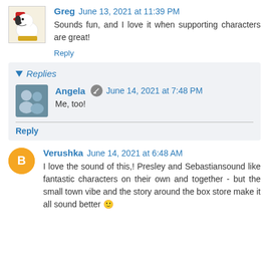Greg  June 13, 2021 at 11:39 PM
Sounds fun, and I love it when supporting characters are great!
Reply
Replies
Angela  June 14, 2021 at 7:48 PM
Me, too!
Reply
Verushka  June 14, 2021 at 6:48 AM
I love the sound of this,! Presley and Sebastiansound like fantastic characters on their own and together - but the small town vibe and the story around the box store make it all sound better 🙂